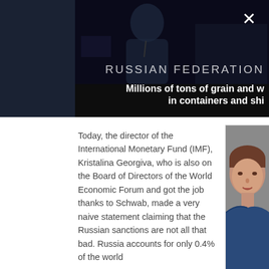[Figure (photo): Dark video frame showing a person at a podium with 'RUSSIAN FEDERATION' text and subtitle 'Millions of tons of grain and w... in containers and shi...' A close button (X) is visible in the top right.]
Today, the director of the International Monetary Fund (IMF), Kristalina Georgiva, who is also on the Board of Directors of the World Economic Forum and got the job thanks to Schwab, made a very naive statement claiming that the Russian sanctions are not all that bad. Russia accounts for only 0.4% of the world
[Figure (photo): Portrait photo of Kristalina Georgieva, IMF director, a middle-aged woman with short brown hair, on a gray background.]